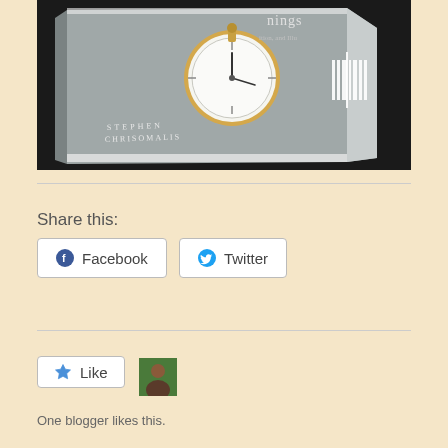[Figure (photo): Book cover photo showing a gray hardcover book titled with a pocket watch graphic and author name Stephen Chrisomalis, on a dark background. A barcode-like icon is visible on the right side of the cover.]
Share this:
Facebook  Twitter
Like
One blogger likes this.